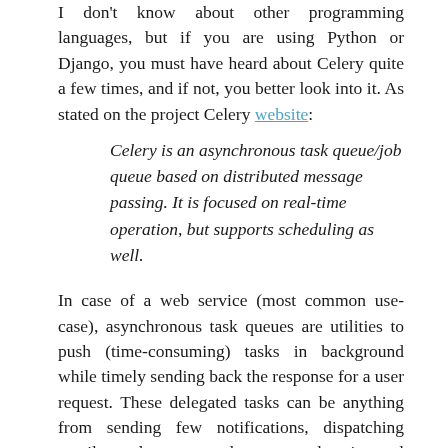I don't know about other programming languages, but if you are using Python or Django, you must have heard about Celery quite a few times, and if not, you better look into it. As stated on the project Celery website:
Celery is an asynchronous task queue/job queue based on distributed message passing. It is focused on real-time operation, but supports scheduling as well.
In case of a web service (most common use-case), asynchronous task queues are utilities to push (time-consuming) tasks in background while timely sending back the response for a user request. These delegated tasks can be anything from sending few notifications, dispatching emails, update system logs, or update internal ERP. Having the aforementioned tasks in line with the request processing, can delay the response back to the user, which can negatively